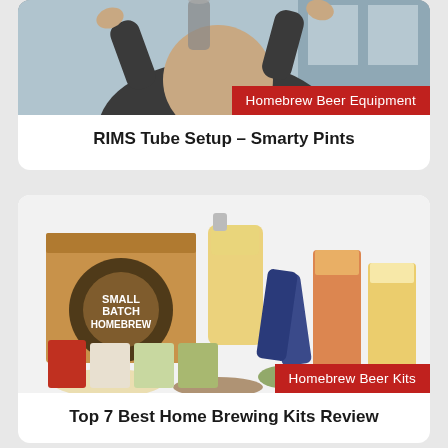[Figure (photo): Photo of a person handling homebrew equipment, with a red badge overlay reading 'Homebrew Beer Equipment']
RIMS Tube Setup – Smarty Pints
[Figure (photo): Photo of a homebrew beer kit showing a box labeled 'Small Batch Homebrew', a glass jug with golden beer, beer glasses, grain, hops, and equipment, with a red badge overlay reading 'Homebrew Beer Kits']
Top 7 Best Home Brewing Kits Review